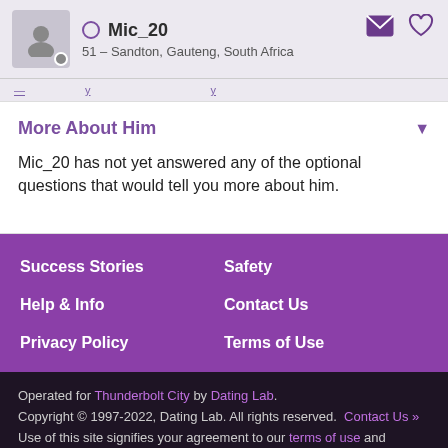Mic_20 – 51 – Sandton, Gauteng, South Africa
More About Him
Mic_20 has not yet answered any of the optional questions that would tell you more about him.
Success Stories
Safety
Help & Info
Contact Us
Privacy Policy
Terms of Use
Operated for Thunderbolt City by Dating Lab. Copyright © 1997-2022, Dating Lab. All rights reserved. Contact Us » Use of this site signifies your agreement to our terms of use and privacy policy